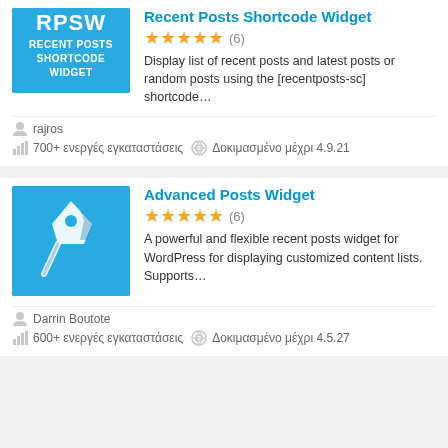[Figure (screenshot): Plugin listing page showing two WordPress plugins: Recent Posts Shortcode Widget and Advanced Posts Widget, each with icon, star rating, description, author, and install stats.]
Recent Posts Shortcode Widget
★★★★★ (6)
Display list of recent posts and latest posts or random posts using the [recentposts-sc] shortcode…
rajros
700+ ενεργές εγκαταστάσεις   Δοκιμασμένο μέχρι 4.9.21
Advanced Posts Widget
★★★★★ (6)
A powerful and flexible recent posts widget for WordPress for displaying customized content lists. Supports…
Darrin Boutote
600+ ενεργές εγκαταστάσεις   Δοκιμασμένο μέχρι 4.5.27